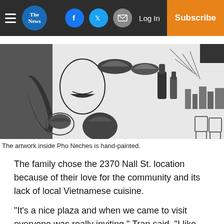The News | Log In | Subscribe
[Figure (photo): Black and white hand-painted mural artwork inside Pho Neches restaurant, showing illustrated food items, vegetables, and restaurant interior with chairs.]
The artwork inside Pho Neches is hand-painted.
The family chose the 2370 Nall St. location because of their love for the community and its lack of local Vietnamese cuisine.
“It’s a nice plaza and when we came to visit everyone was really inviting,” Tran said. “I like the space. It’s the